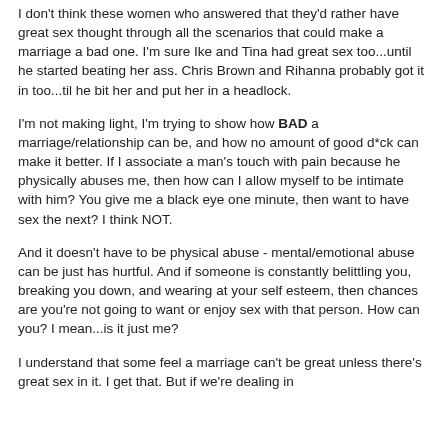I don't think these women who answered that they'd rather have great sex thought through all the scenarios that could make a marriage a bad one. I'm sure Ike and Tina had great sex too...until he started beating her ass. Chris Brown and Rihanna probably got it in too...til he bit her and put her in a headlock.
I'm not making light, I'm trying to show how BAD a marriage/relationship can be, and how no amount of good d*ck can make it better. If I associate a man's touch with pain because he physically abuses me, then how can I allow myself to be intimate with him? You give me a black eye one minute, then want to have sex the next? I think NOT.
And it doesn't have to be physical abuse - mental/emotional abuse can be just has hurtful. And if someone is constantly belittling you, breaking you down, and wearing at your self esteem, then chances are you're not going to want or enjoy sex with that person. How can you? I mean...is it just me?
I understand that some feel a marriage can't be great unless there's great sex in it. I get that. But if we're dealing in